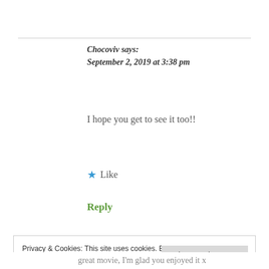Chocoviv says:
September 2, 2019 at 3:38 pm
I hope you get to see it too!!
★ Like
Reply
Privacy & Cookies: This site uses cookies. By continuing to use this website, you agree to their use.
To find out more, including how to control cookies, see here: Cookie Policy
Close and accept
great movie, I'm glad you enjoyed it x